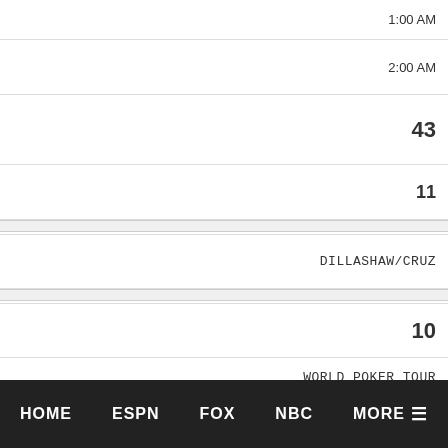| 1:00 AM |
| 2:00 AM |
| 43 |
| 11 |
| DILLASHAW/CRUZ |
| 10 |
| WORLD POKER TOUR |
| Wed 5/25/16 |
| 11:00 PM |
HOME   ESPN   FOX   NBC   MORE